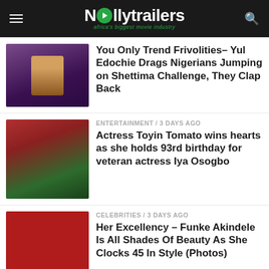Nollytrailers — africa's biggest movie industry
[Figure (photo): Photo of Yul Edochie]
You Only Trend Frivolities– Yul Edochie Drags Nigerians Jumping on Shettima Challenge, They Clap Back
[Figure (photo): Photo of actress Toyin Tomato and Iya Osogbo]
ENTERTAINMENT / 3 days ago
Actress Toyin Tomato wins hearts as she holds 93rd birthday for veteran actress Iya Osogbo
[Figure (photo): Photo of Funke Akindele in red outfit]
CELEBRITIES / 3 days ago
Her Excellency – Funke Akindele Is All Shades Of Beauty As She Clocks 45 In Style (Photos)
[Figure (photo): Photo of two people at Netflix event]
BUSINESS / 4 days ago
Collision Course: Excitement grows as Netflix debut approaches
TRAILERS